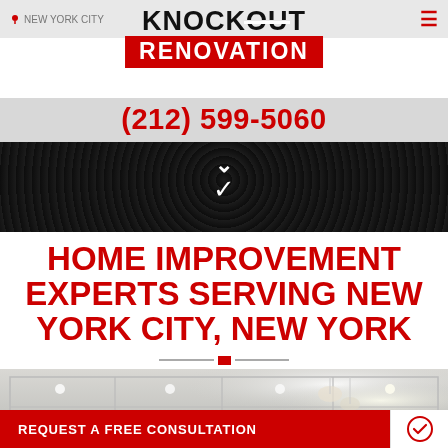KNOCKOUT RENOVATION
(212) 599-5060
HOME IMPROVEMENT EXPERTS SERVING NEW YORK CITY, NEW YORK
[Figure (photo): Interior room photo showing ornate coffered ceiling with recessed lighting and a crystal chandelier]
REQUEST A FREE CONSULTATION